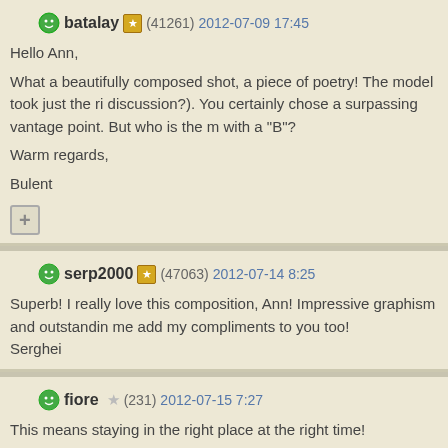batalay (41261) 2012-07-09 17:45
Hello Ann,
What a beautifully composed shot, a piece of poetry! The model took just the right pose (discussion?). You certainly chose a surpassing vantage point. But who is the model with a "B"?
Warm regards,
Bulent
serp2000 (47063) 2012-07-14 8:25
Superb! I really love this composition, Ann! Impressive graphism and outstanding me add my compliments to you too!
Serghei
fiore (231) 2012-07-15 7:27
This means staying in the right place at the right time!